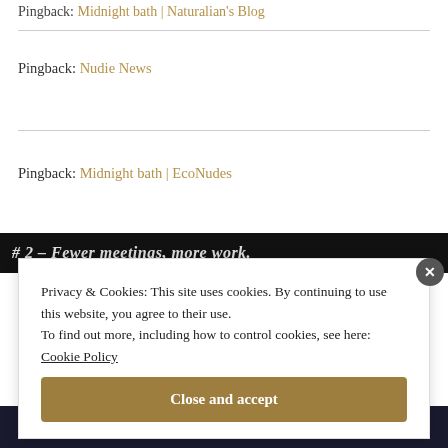Pingback: Midnight bath | Naturalian's Blog
Pingback: Nudie News
Pingback: Midnight bath | EcoNudes
[Figure (screenshot): Dark banner with bold italic text partially visible: '# 2 – Fewer meetings, more work.']
Privacy & Cookies: This site uses cookies. By continuing to use this website, you agree to their use. To find out more, including how to control cookies, see here: Cookie Policy
Close and accept
[Figure (screenshot): Dark footer bar with text 'quizzes, and forms.' and WordPress logo icon]